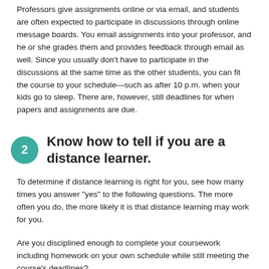Professors give assignments online or via email, and students are often expected to participate in discussions through online message boards. You email assignments into your professor, and he or she grades them and provides feedback through email as well. Since you usually don't have to participate in the discussions at the same time as the other students, you can fit the course to your schedule—such as after 10 p.m. when your kids go to sleep. There are, however, still deadlines for when papers and assignments are due.
2 Know how to tell if you are a distance learner.
To determine if distance learning is right for you, see how many times you answer "yes" to the following questions. The more often you do, the more likely it is that distance learning may work for you.
Are you disciplined enough to complete your coursework including homework on your own schedule while still meeting the course's deadlines?